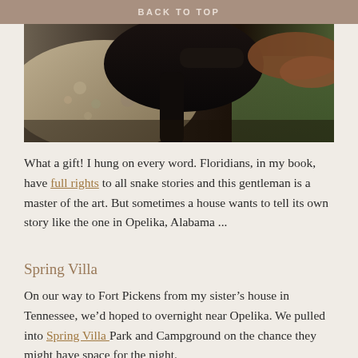BACK TO TOP
[Figure (photo): Close-up photograph of animals, likely horses or cattle, showing textured hides in dark and light tones with a blurred green background]
What a gift! I hung on every word. Floridians, in my book, have full rights to all snake stories and this gentleman is a master of the art. But sometimes a house wants to tell its own story like the one in Opelika, Alabama ...
Spring Villa
On our way to Fort Pickens from my sister’s house in Tennessee, we’d hoped to overnight near Opelika. We pulled into Spring Villa Park and Campground on the chance they might have space for the night.